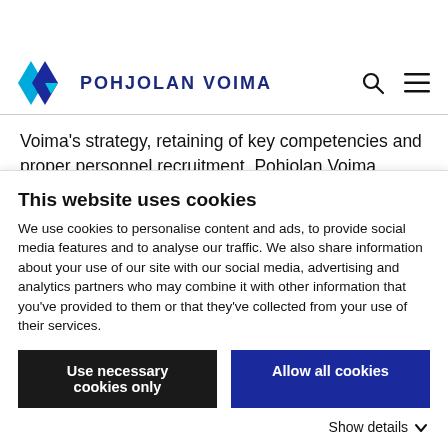[Figure (logo): Pohjolan Voima logo with blue diamond/arrow shape and company name in dark blue uppercase letters]
Voima's strategy, retaining of key competencies and proper personnel recruitment. Pohjolan Voima prepares annual personnel plans. Recruitment is based on business needs. The most suitable person with the greatest potential for development is selected for each position.
This website uses cookies
We use cookies to personalise content and ads, to provide social media features and to analyse our traffic. We also share information about your use of our site with our social media, advertising and analytics partners who may combine it with other information that you've provided to them or that they've collected from your use of their services.
Use necessary cookies only
Allow all cookies
Show details